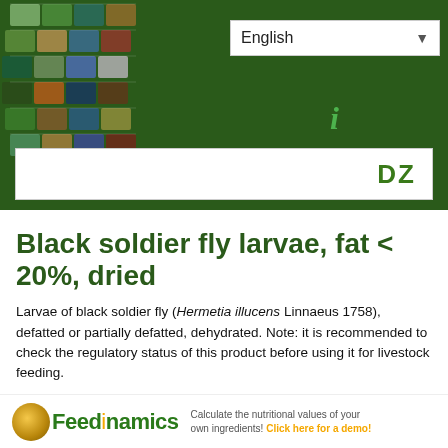[Figure (screenshot): Website header with dark green background, animal photo collage cube on the left, English language dropdown selector, info icon, and DZ search bar]
Black soldier fly larvae, fat < 20%, dried
Larvae of black soldier fly (Hermetia illucens Linnaeus 1758), defatted or partially defatted, dehydrated. Note: it is recommended to check the regulatory status of this product before using it for livestock feeding.
[Figure (logo): Feedinamics logo with circular gold/brown emblem, green and gold text, and tagline: Calculate the nutritional values of your own ingredients! Click here for a demo!]